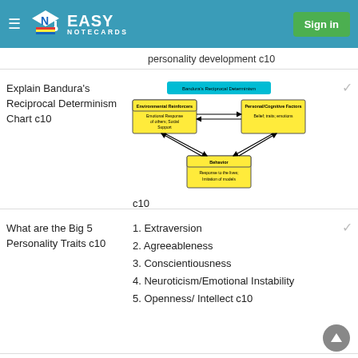EASY NOTECARDS — Sign in
personality development c10
Explain Bandura's Reciprocal Determinism Chart c10
[Figure (flowchart): Bandura's Reciprocal Determinism chart showing three boxes: 'Environmental Reinforcers' (yellow, left) with 'Emotional Response of others; Social Support', 'Personal/Cognitive Factors' (yellow, right) with 'Belief; traits; emotions', connected to 'Behavior' (yellow, bottom center) with 'Response to the lives; Imitation of models'. Arrows connect all three boxes bidirectionally. A cyan box at top reads 'Bandura's Reciprocal Determinism'.]
c10
What are the Big 5 Personality Traits c10
1. Extraversion
2. Agreeableness
3. Conscientiousness
4. Neuroticism/Emotional Instability
5. Openness/ Intellect c10